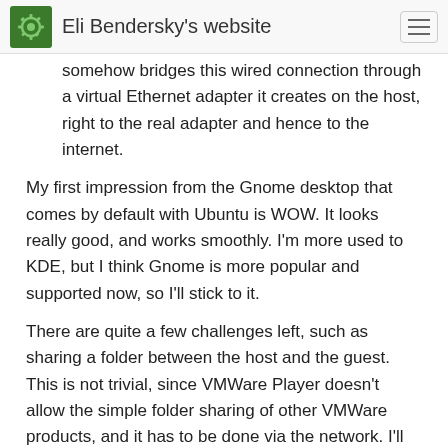Eli Bendersky's website
somehow bridges this wired connection through a virtual Ethernet adapter it creates on the host, right to the real adapter and hence to the internet.
My first impression from the Gnome desktop that comes by default with Ubuntu is WOW. It looks really good, and works smoothly. I'm more used to KDE, but I think Gnome is more popular and supported now, so I'll stick to it.
There are quite a few challenges left, such as sharing a folder between the host and the guest. This is not trivial, since VMWare Player doesn't allow the simple folder sharing of other VMWare products, and it has to be done via the network. I'll report my progress on this and other stuff later.
For comments, please send me an email.